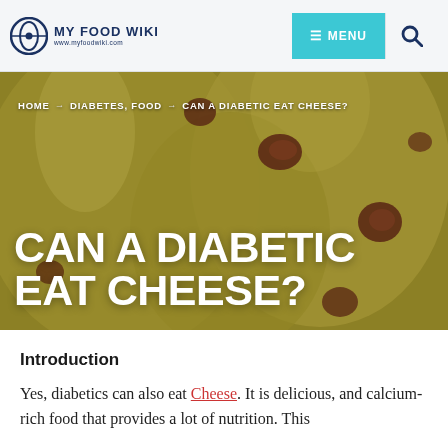MY FOOD WIKI — www.myfoodwiki.com — MENU — Search
[Figure (photo): Close-up photo of yellow cheese slices with embedded dried cranberries or raisins, serving as the hero background image]
HOME → DIABETES, FOOD → CAN A DIABETIC EAT CHEESE?
CAN A DIABETIC EAT CHEESE?
Introduction
Yes, diabetics can also eat Cheese. It is delicious, and calcium-rich food that provides a lot of nutrition. This